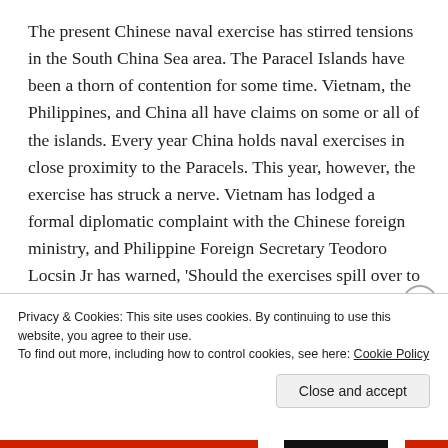The present Chinese naval exercise has stirred tensions in the South China Sea area. The Paracel Islands have been a thorn of contention for some time. Vietnam, the Philippines, and China all have claims on some or all of the islands. Every year China holds naval exercises in close proximity to the Paracels. This year, however, the exercise has struck a nerve. Vietnam has lodged a formal diplomatic complaint with the Chinese foreign ministry, and Philippine Foreign Secretary Teodoro Locsin Jr has warned, 'Should the exercises spill over to Philippine territory...it will be met with the severest response,
Privacy & Cookies: This site uses cookies. By continuing to use this website, you agree to their use.
To find out more, including how to control cookies, see here: Cookie Policy
Close and accept